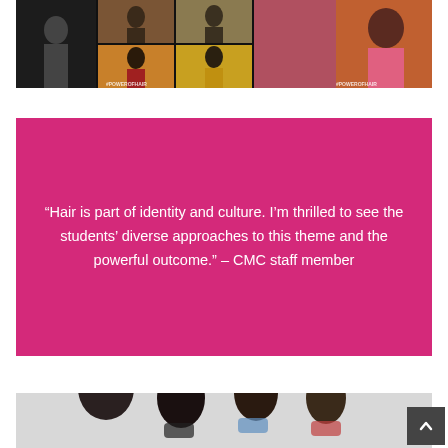[Figure (photo): Photo collage of students with various hairstyles, hashtag #POWEROFHAIR visible, dark/yellow/pink tones]
“Hair is part of identity and culture. I’m thrilled to see the students’ diverse approaches to this theme and the powerful outcome.” – CMC staff member
[Figure (photo): Group photo of students wearing masks, diverse hairstyles, light background]